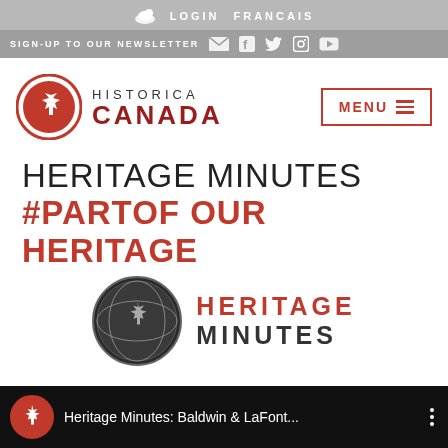LOGIN   FRANCAIS
SIGN-UP TO OUR NEWSLETTER
[Figure (logo): Historica Canada logo with maple leaf in red circle and text HISTORICA CANADA]
[Figure (other): MENU button with hamburger icon, red border]
HERITAGE MINUTES
#PARTOF OUR HERITAGE
[Figure (logo): Heritage Minutes logo: circular globe emblem with maple leaf, text HERITAGE MINUTES in red and dark grey]
[Figure (screenshot): Video bar: Heritage Minutes: Baldwin & LaFont... with Historica Canada icon and three-dot menu]